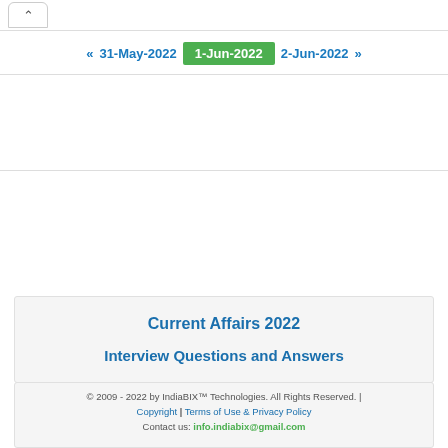^ (up arrow navigation button)
« 31-May-2022  1-Jun-2022  2-Jun-2022 »
Current Affairs 2022
Interview Questions and Answers
© 2009 - 2022 by IndiaBIX™ Technologies. All Rights Reserved. | Copyright | Terms of Use & Privacy Policy
Contact us: info.indiabix@gmail.com